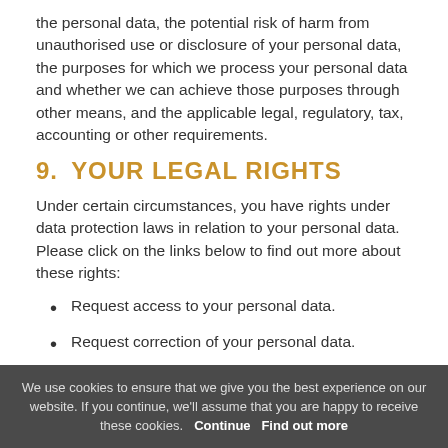the personal data, the potential risk of harm from unauthorised use or disclosure of your personal data, the purposes for which we process your personal data and whether we can achieve those purposes through other means, and the applicable legal, regulatory, tax, accounting or other requirements.
9.  YOUR LEGAL RIGHTS
Under certain circumstances, you have rights under data protection laws in relation to your personal data. Please click on the links below to find out more about these rights:
Request access to your personal data.
Request correction of your personal data.
We use cookies to ensure that we give you the best experience on our website. If you continue, we'll assume that you are happy to receive these cookies.   Continue    Find out more